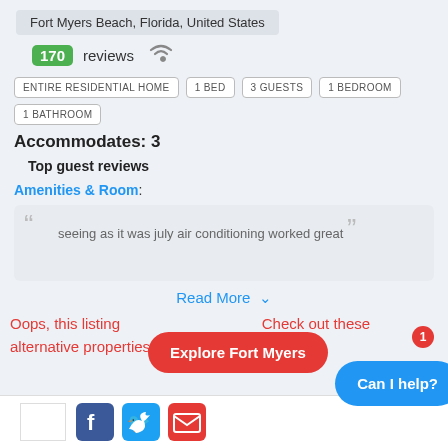Fort Myers Beach, Florida, United States
170 reviews (wifi icon)
ENTIRE RESIDENTIAL HOME
1 BED
3 GUESTS
1 BEDROOM
1 BATHROOM
Accommodates: 3
Top guest reviews
Amenities & Room:
seeing as it was july air conditioning worked great
Read More ∨
Oops, this listing  Check out these alternative properties in the same lo
Explore Fort Myers
Can I help?
[Figure (screenshot): Social media icons: Facebook, Twitter, Email at bottom of page]